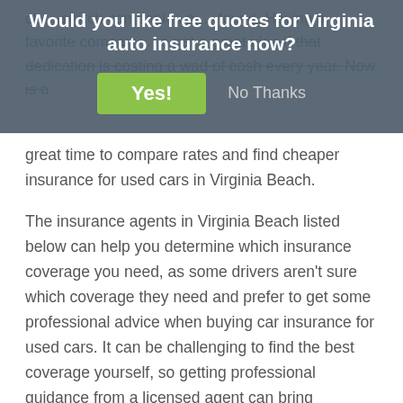[Figure (other): Modal overlay dialog asking 'Would you like free quotes for Virginia auto insurance now?' with a green 'Yes!' button and a 'No Thanks' text link on a semi-transparent dark blue-grey background.]
great time to compare rates and find cheaper insurance for used cars in Virginia Beach.
The insurance agents in Virginia Beach listed below can help you determine which insurance coverage you need, as some drivers aren't sure which coverage they need and prefer to get some professional advice when buying car insurance for used cars. It can be challenging to find the best coverage yourself, so getting professional guidance from a licensed agent can bring satisfaction knowing your coverage gives you adequate protection.